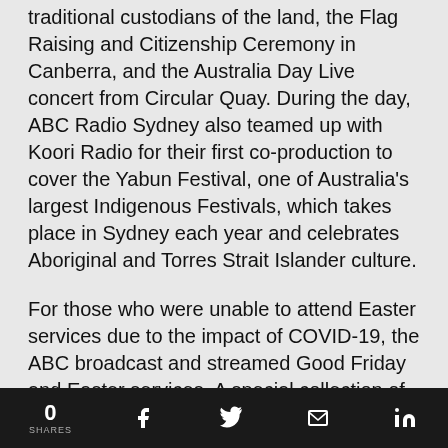traditional custodians of the land, the Flag Raising and Citizenship Ceremony in Canberra, and the Australia Day Live concert from Circular Quay. During the day, ABC Radio Sydney also teamed up with Koori Radio for their first co-production to cover the Yabun Festival, one of Australia's largest Indigenous Festivals, which takes place in Sydney each year and celebrates Aboriginal and Torres Strait Islander culture.
For those who were unable to attend Easter services due to the impact of COVID-19, the ABC broadcast and streamed Good Friday and Easter services. A special collection of religion features was curated for iview for the Easter lockdown, and the ABC's Religion & Ethics online portal also featured articles, discussions and
0 SHARES